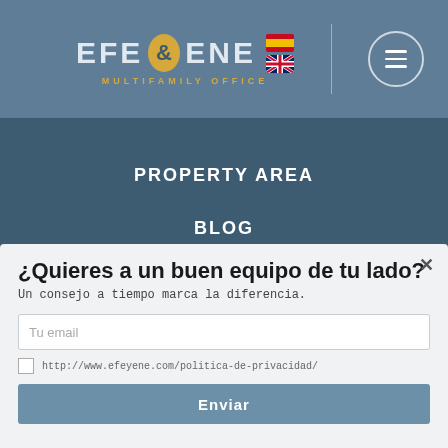[Figure (logo): EFE&ENE Multifamily Office logo with Spanish and UK flags and hamburger menu icon on blue-grey header bar]
PROPERTY AREA
BLOG
CONTACT
[Figure (logo): EFE&ENE logo in dark blue footer strip]
¿Quieres a un buen equipo de tu lado?
Un consejo a tiempo marca la diferencia.
Tu email
http://www.efeyene.com/politica-de-privacidad/
Enviar